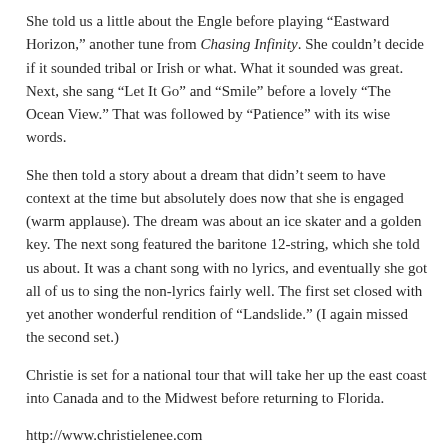She told us a little about the Engle before playing “Eastward Horizon,” another tune from Chasing Infinity. She couldn’t decide if it sounded tribal or Irish or what. What it sounded was great. Next, she sang “Let It Go” and “Smile” before a lovely “The Ocean View.” That was followed by “Patience” with its wise words.
She then told a story about a dream that didn’t seem to have context at the time but absolutely does now that she is engaged (warm applause). The dream was about an ice skater and a golden key. The next song featured the baritone 12-string, which she told us about. It was a chant song with no lyrics, and eventually she got all of us to sing the non-lyrics fairly well. The first set closed with yet another wonderful rendition of “Landslide.” (I again missed the second set.)
Christie is set for a national tour that will take her up the east coast into Canada and to the Midwest before returning to Florida.
http://www.christielenee.com